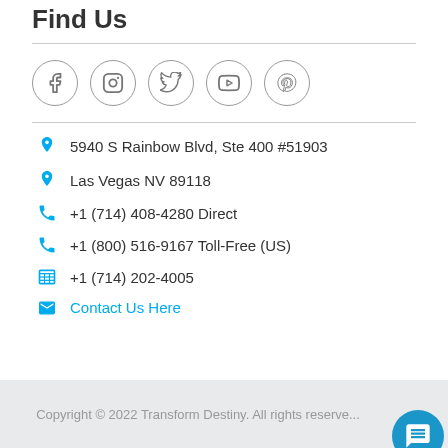Find Us
[Figure (infographic): Row of five social media icons in circles: Facebook, Instagram, Twitter, YouTube, Pinterest]
5940 S Rainbow Blvd, Ste 400 #51903
Las Vegas NV 89118
+1 (714) 408-4280 Direct
+1 (800) 516-9167 Toll-Free (US)
+1 (714) 202-4005
Contact Us Here
Copyright © 2022 Transform Destiny. All rights reserve...